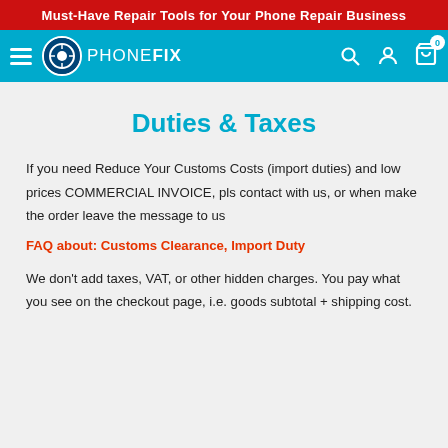Must-Have Repair Tools for Your Phone Repair Business
[Figure (logo): PHONEFIX logo with teal navigation bar, hamburger menu, search icon, account icon, and cart icon with 0 badge]
Duties & Taxes
If you need Reduce Your Customs Costs (import duties) and low prices COMMERCIAL INVOICE, pls contact with us, or when make the order leave the message to us
FAQ about: Customs Clearance, Import Duty
We don't add taxes, VAT, or other hidden charges. You pay what you see on the checkout page, i.e. goods subtotal + shipping cost.